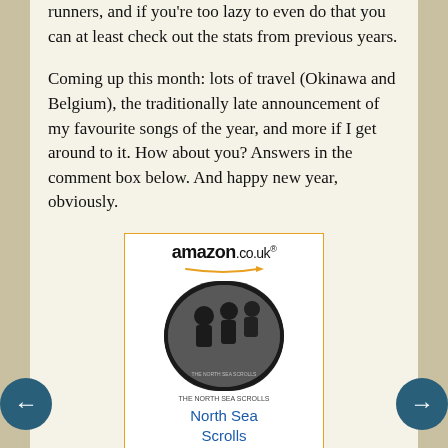runners, and if you're too lazy to even do that you can at least check out the stats from previous years.
Coming up this month: lots of travel (Okinawa and Belgium), the traditionally late announcement of my favourite songs of the year, and more if I get around to it. How about you? Answers in the comment box below. And happy new year, obviously.
[Figure (other): Amazon.co.uk advertisement with book image for 'North Sea Scrolls']